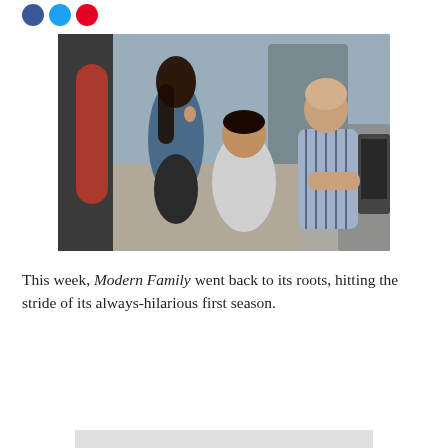[Figure (photo): A woman with long dark hair in a blue-grey outfit, a young boy in a grey shirt, and an older man in a striped shirt, in an indoor setting with equipment visible.]
This week, Modern Family went back to its roots, hitting the stride of its always-hilarious first season.